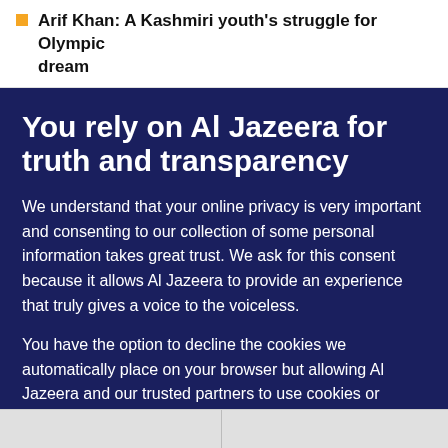Arif Khan: A Kashmiri youth's struggle for Olympic dream
You rely on Al Jazeera for truth and transparency
We understand that your online privacy is very important and consenting to our collection of some personal information takes great trust. We ask for this consent because it allows Al Jazeera to provide an experience that truly gives a voice to the voiceless.
You have the option to decline the cookies we automatically place on your browser but allowing Al Jazeera and our trusted partners to use cookies or similar technologies helps us improve our content and offerings to you. You can change your privacy preferences at any time by selecting 'Cookie preferences' at the bottom of your screen. To learn more, please view our Cookie Policy.